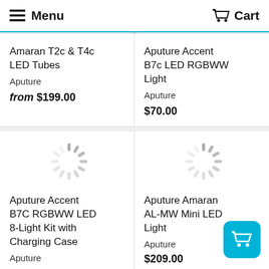Menu | Cart
Amaran T2c & T4c LED Tubes
Aputure
from $199.00
Aputure Accent B7c LED RGBWW Light
Aputure
$70.00
[Figure (other): Loading spinner icon (gray circular dashes)]
[Figure (other): Loading spinner icon (gray circular dashes)]
Aputure Accent B7C RGBWW LED 8-Light Kit with Charging Case
Aputure
Aputure Amaran AL-MW Mini LED Light
Aputure
$209.00